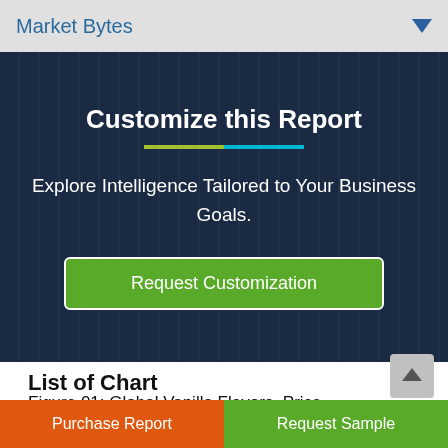Market Bytes
Customize this Report
Explore Intelligence Tailored to Your Business Goals.
Request Customization
List of Chart
Figure 01: Global Vanilla Flavors, Price Difference (US$ Mn) By Region, 2022
Purchase Report | Request Sample